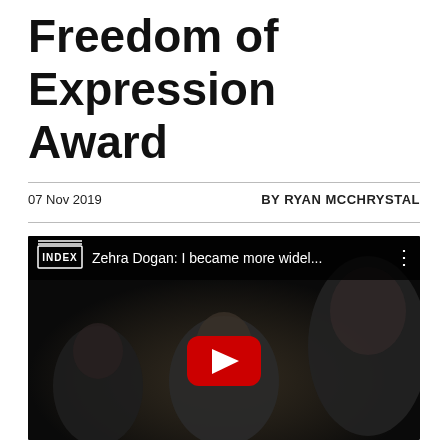Freedom of Expression Award
07 Nov 2019    BY RYAN MCCHRYSTAL
[Figure (screenshot): YouTube video thumbnail showing 'Zehra Dogan: I became more widel...' with INDEX branding on a dark background showing people at an event, with a red YouTube play button in the center.]